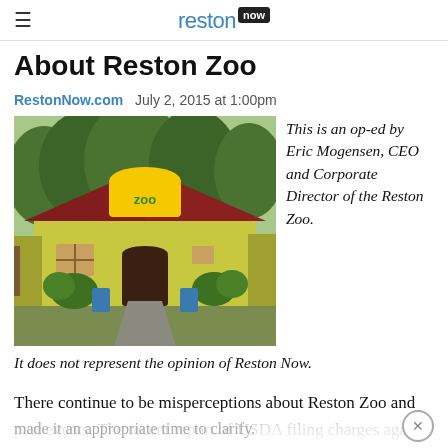reston now
About Reston Zoo
RestonNow.com   July 2, 2015 at 1:00pm
[Figure (photo): Exterior of Reston Zoo building, a yellow barn-style structure with a red roof and Zoo sign above the entrance, surrounded by greenery.]
This is an op-ed by Eric Mogensen, CEO and Corporate Director of the Reston Zoo. It does not represent the opinion of Reston Now.
There continue to be misperceptions about Reston Zoo and past events. The recent report of USDA filing charges against us, all of which are being refuted, has made it an appropriate time to clarify.